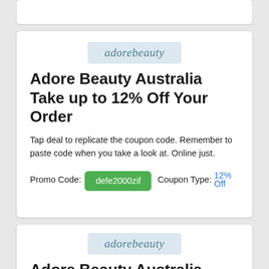[Figure (logo): Adore Beauty logo in script font on light blue background]
Adore Beauty Australia Take up to 12% Off Your Order
Tap deal to replicate the coupon code. Remember to paste code when you take a look at. Online just.
Promo Code: defe2000zif   Coupon Type: 12% Off
[Figure (logo): Adore Beauty logo in script font on light blue background]
Adore Beauty Australia Save 12% Off Your Order
Tap offer to replicate the voucher code. Keep in